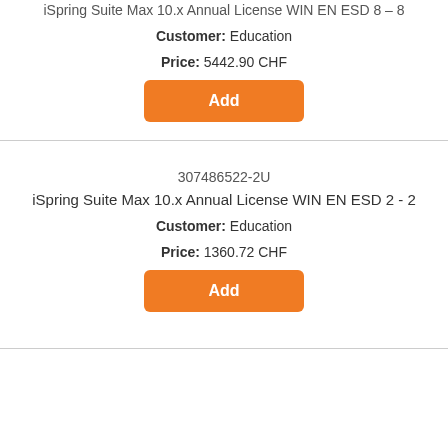iSpring Suite Max 10.x Annual License WIN EN ESD 8 - 8
Customer: Education
Price: 5442.90 CHF
Add
307486522-2U
iSpring Suite Max 10.x Annual License WIN EN ESD 2 - 2
Customer: Education
Price: 1360.72 CHF
Add